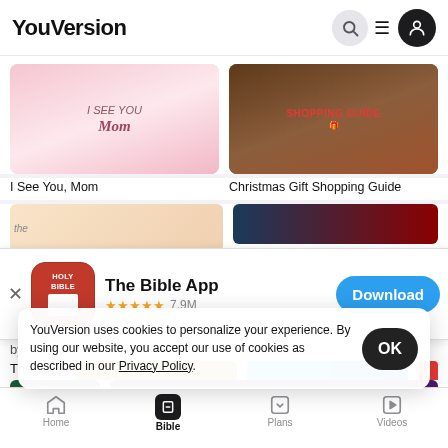YouVersion
[Figure (screenshot): Thumbnail image for 'I See You, Mom' reading plan]
I See You, Mom
[Figure (screenshot): Thumbnail image for 'Christmas Gift Shopping Guide' reading plan]
Christmas Gift Shopping Guide
[Figure (screenshot): The Bible App banner with Holy Bible icon, stars rating 7.9M, and Download button]
The Bible App ★★★★★ 7.9M
YouVersion uses cookies to personalize your experience. By using our website, you accept our use of cookies as described in our Privacy Policy.
The Simp
Home  Bible  Plans  Videos